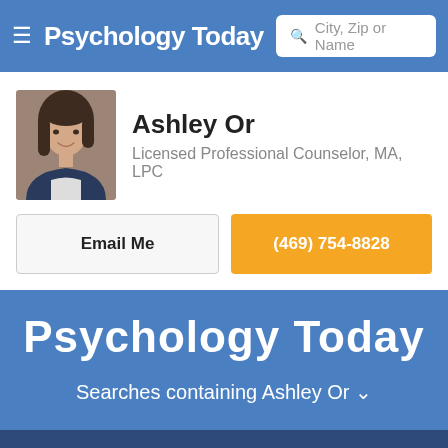Psychology Today — City, Zip or Name search
Ashley Or
Licensed Professional Counselor, MA, LPC
Email Me
(469) 754-8828
[Figure (logo): Psychology Today large logo text in white on blue background]
Searches containing Ashley Or ∨
Sign Up and Get Listed